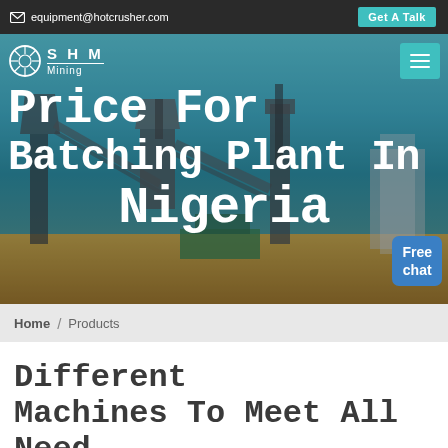equipment@hotcrusher.com  Get A Talk
[Figure (photo): Hero banner image showing industrial batching/mining plant equipment with title overlay: Price For Batching Plant In Nigeria. SHM Mining logo and navigation visible. Customer service chat bubble in bottom right.]
Home / Products
Different Machines To Meet All Need
[Figure (photo): Bottom strip showing partial view of industrial machinery or plant equipment in blue tones]